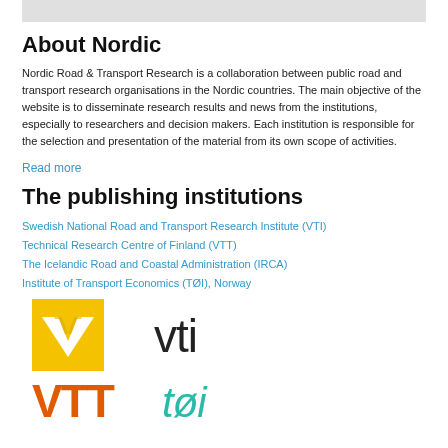[Figure (other): Partial image bar at top of page]
About Nordic
Nordic Road & Transport Research is a collaboration between public road and transport research organisations in the Nordic countries. The main objective of the website is to disseminate research results and news from the institutions, especially to researchers and decision makers. Each institution is responsible for the selection and presentation of the material from its own scope of activities.
Read more
The publishing institutions
Swedish National Road and Transport Research Institute (VTI)
Technical Research Centre of Finland (VTT)
The Icelandic Road and Coastal Administration (IRCA)
Institute of Transport Economics (TØI), Norway
[Figure (logo): VTT yellow square logo with white V shape]
[Figure (logo): VTI black text logo]
[Figure (logo): VTT orange/red text logo]
[Figure (logo): TØI teal text logo]